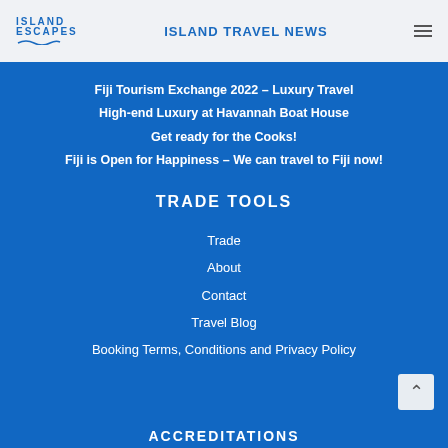ISLAND ESCAPES — ISLAND TRAVEL NEWS
Fiji Tourism Exchange 2022 – Luxury Travel
High-end Luxury at Havannah Boat House
Get ready for the Cooks!
Fiji is Open for Happiness – We can travel to Fiji now!
TRADE TOOLS
Trade
About
Contact
Travel Blog
Booking Terms, Conditions and Privacy Policy
ACCREDITATIONS